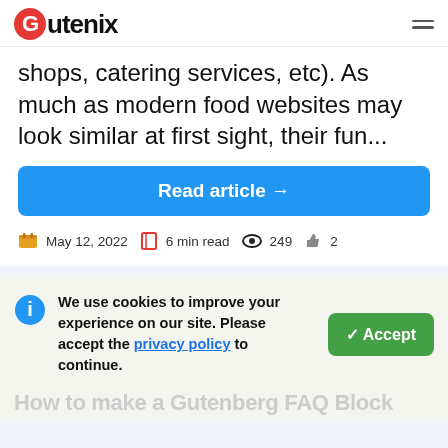Gutenix
shops, catering services, etc). As much as modern food websites may look similar at first sight, their fun...
Read article →
May 12, 2022  6 min read  249  2
We use cookies to improve your experience on our site. Please accept the privacy policy to continue.
✓ Accept